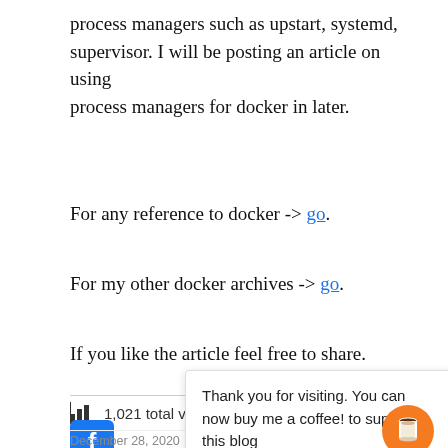process managers such as upstart, systemd, supervisor. I will be posting an article on using process managers for docker in later.
For any reference to docker -> go.
For my other docker archives -> go.
If you like the article feel free to share.
1,021 total views
Thank you for visiting. You can now buy me a coffee! to support this blog
December 28, 2020 / Docker, Programming /